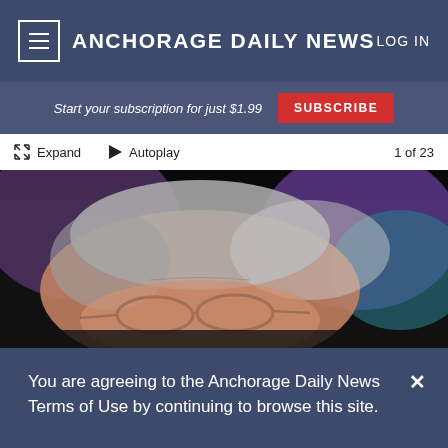ANCHORAGE DAILY NEWS | LOG IN
Start your subscription for just $1.99 | SUBSCRIBE
Expand  Autoplay  1 of 23
[Figure (photo): Close-up photo of an elderly person with gray hair and glasses, downcast eyes, with a colorful blurred background.]
You are agreeing to the Anchorage Daily News Terms of Use by continuing to browse this site.
Terms of Use
or
I Accept